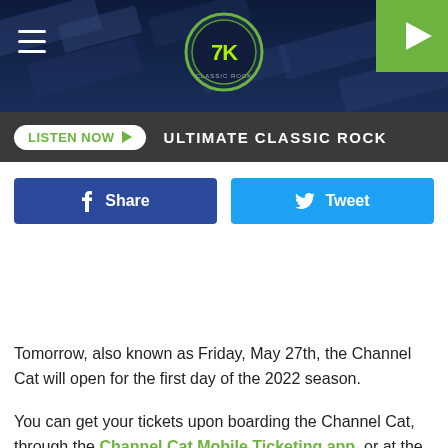[Figure (screenshot): Website header banner with dark blue/metallic background and circular logo in center]
LISTEN NOW  ULTIMATE CLASSIC ROCK
[Figure (infographic): Facebook Share button (dark blue) and Twitter Tweet button (light blue) side by side]
Tomorrow, also known as Friday, May 27th, the Channel Cat will open for the first day of the 2022 season.
You can get your tickets upon boarding the Channel Cat, through the Channel Cat Mobile Ticketing app, or at the